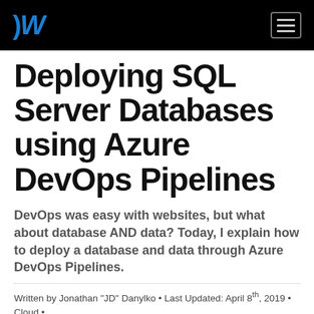DW [logo] [hamburger menu]
Deploying SQL Server Databases using Azure DevOps Pipelines
DevOps was easy with websites, but what about database AND data? Today, I explain how to deploy a database and data through Azure DevOps Pipelines.
Written by Jonathan "JD" Danylko • Last Updated: April 8th, 2019 • Cloud •
👍 Like | 0